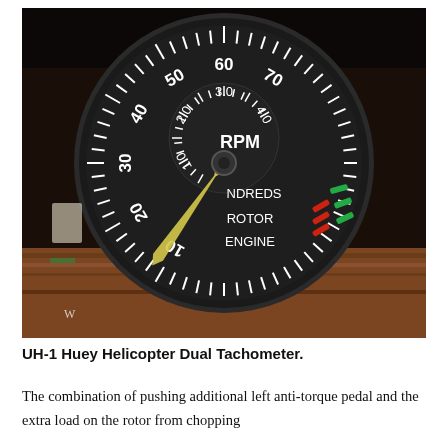[Figure (photo): Photograph of a UH-1 Huey Helicopter Dual Tachometer instrument. The circular gauge has a black face with white dial markings showing RPM in hundreds. The outer scale reads from 10 to 60 RPM (Rotor), and the inner scale shows 1.0 to 3.0 RPM (Engine). Labels read 'RPM', 'HUNDREDS', 'ROTOR', 'ENGINE'. A yellow pointer is visible, and red and green indicator marks appear near the 60-70 region. The gauge is set against a wooden surface background.]
UH-1 Huey Helicopter Dual Tachometer.
The combination of pushing additional left anti-torque pedal and the extra load on the rotor from chopping